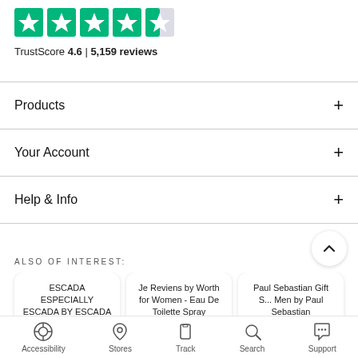[Figure (infographic): Trustpilot star rating graphic showing approximately 4.6 out of 5 stars in green]
TrustScore 4.6 | 5,159 reviews
Products +
Your Account +
Help & Info +
ALSO OF INTEREST:
ESCADA ESPECIALLY ESCADA BY ESCADA FOR WOMEN –...
Je Reviens by Worth for Women - Eau De Toilette Spray
Paul Sebastian Gift S... Men by Paul Sebastian
Accessibility  Stores  Track  Search  Support